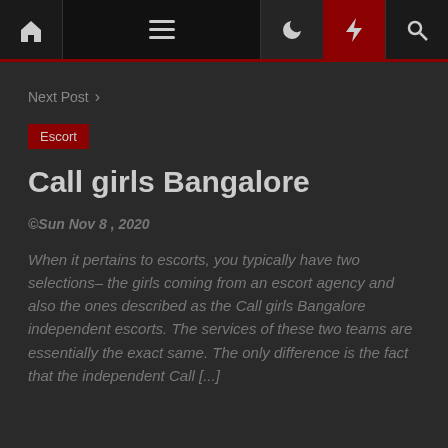Navigation bar with home, menu, moon, bolt, and search icons
Next Post >
Escort
Call girls Bangalore
©Sun Nov 8 , 2020
When it pertains to escorts, you typically have two selections– the girls coming from an escort agency and also the ones described as the Call girls Bangalore independent escorts. The services of these two teams are essentially the exact same. The only difference is the fact that the independent Call [...]